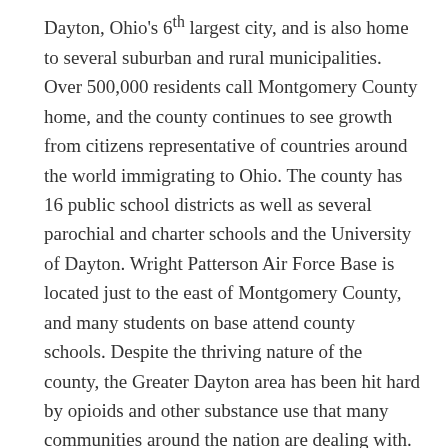Dayton, Ohio's 6th largest city, and is also home to several suburban and rural municipalities. Over 500,000 residents call Montgomery County home, and the county continues to see growth from citizens representative of countries around the world immigrating to Ohio. The county has 16 public school districts as well as several parochial and charter schools and the University of Dayton. Wright Patterson Air Force Base is located just to the east of Montgomery County, and many students on base attend county schools. Despite the thriving nature of the county, the Greater Dayton area has been hit hard by opioids and other substance use that many communities around the nation are dealing with. The coalition was formed in the Fall of 2017 as communities were coming together to look at interventions to put in place to reduce drug-related deaths throughout the county.